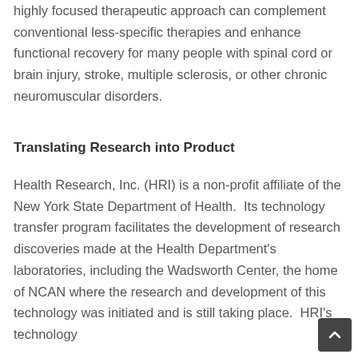highly focused therapeutic approach can complement conventional less-specific therapies and enhance functional recovery for many people with spinal cord or brain injury, stroke, multiple sclerosis, or other chronic neuromuscular disorders.
Translating Research into Product
Health Research, Inc. (HRI) is a non-profit affiliate of the New York State Department of Health.  Its technology transfer program facilitates the development of research discoveries made at the Health Department's laboratories, including the Wadsworth Center, the home of NCAN where the research and development of this technology was initiated and is still taking place.  HRI's technology